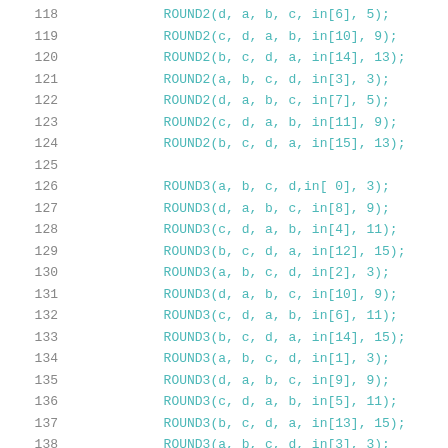118    ROUND2(d, a, b, c, in[6], 5);
119    ROUND2(c, d, a, b, in[10], 9);
120    ROUND2(b, c, d, a, in[14], 13);
121    ROUND2(a, b, c, d, in[3], 3);
122    ROUND2(d, a, b, c, in[7], 5);
123    ROUND2(c, d, a, b, in[11], 9);
124    ROUND2(b, c, d, a, in[15], 13);
125
126    ROUND3(a, b, c, d,in[ 0], 3);
127    ROUND3(d, a, b, c, in[8], 9);
128    ROUND3(c, d, a, b, in[4], 11);
129    ROUND3(b, c, d, a, in[12], 15);
130    ROUND3(a, b, c, d, in[2], 3);
131    ROUND3(d, a, b, c, in[10], 9);
132    ROUND3(c, d, a, b, in[6], 11);
133    ROUND3(b, c, d, a, in[14], 15);
134    ROUND3(a, b, c, d, in[1], 3);
135    ROUND3(d, a, b, c, in[9], 9);
136    ROUND3(c, d, a, b, in[5], 11);
137    ROUND3(b, c, d, a, in[13], 15);
138    ROUND3(a, b, c, d, in[3], 3);
139    ROUND3(d, a, b, c, in[11], 9);